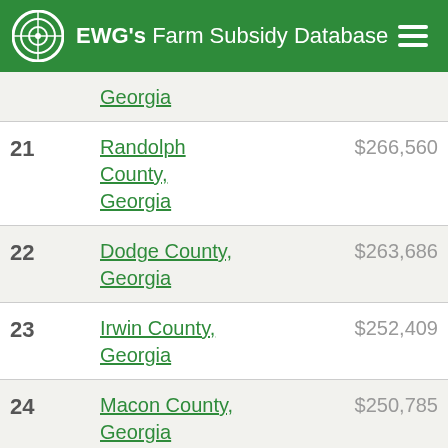EWG's Farm Subsidy Database
| Rank | County | Amount |
| --- | --- | --- |
|  | Georgia |  |
| 21 | Randolph County, Georgia | $266,560 |
| 22 | Dodge County, Georgia | $263,686 |
| 23 | Irwin County, Georgia | $252,409 |
| 24 | Macon County, Georgia | $250,785 |
| 25 | Screven County, Georgia | $224,775 |